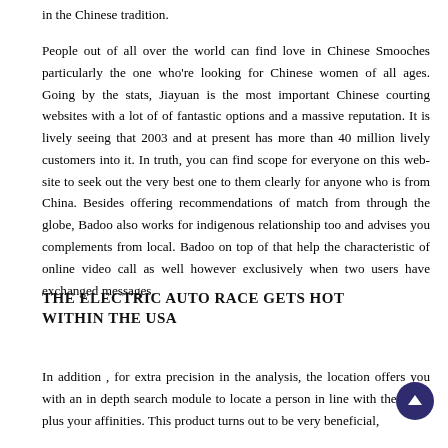in the Chinese tradition.
People out of all over the world can find love in Chinese Smooches particularly the one who're looking for Chinese women of all ages. Going by the stats, Jiayuan is the most important Chinese courting websites with a lot of of fantastic options and a massive reputation. It is lively seeing that 2003 and at present has more than 40 million lively customers into it. In truth, you can find scope for everyone on this web-site to seek out the very best one to them clearly for anyone who is from China. Besides offering recommendations of match from through the globe, Badoo also works for indigenous relationship too and advises you complements from local. Badoo on top of that help the characteristic of online video call as well however exclusively when two users have exchanged messages.
THE ELECTRIC AUTO RACE GETS HOT WITHIN THE USA
In addition , for extra precision in the analysis, the location offers you with an in depth search module to locate a person in line with the tastes plus your affinities. This product turns out to be very beneficial,